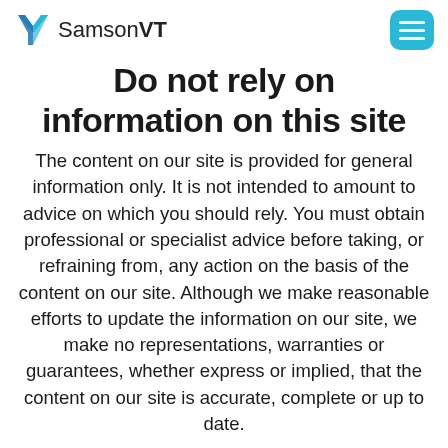SamsonVT
Do not rely on information on this site
The content on our site is provided for general information only. It is not intended to amount to advice on which you should rely. You must obtain professional or specialist advice before taking, or refraining from, any action on the basis of the content on our site. Although we make reasonable efforts to update the information on our site, we make no representations, warranties or guarantees, whether express or implied, that the content on our site is accurate, complete or up to date.